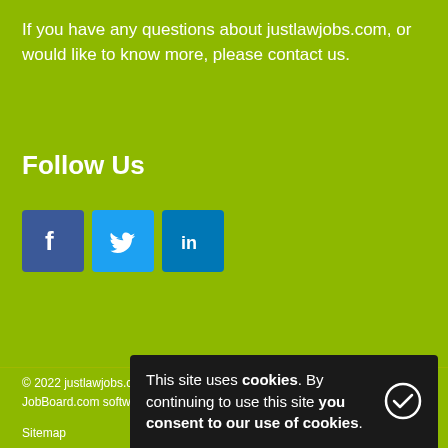If you have any questions about justlawjobs.com, or would like to know more, please contact us.
Follow Us
[Figure (other): Social media icons: Facebook (blue square with 'f'), Twitter (light blue square with bird icon), LinkedIn (dark blue square with 'in')]
© 2022 justlawjobs.com
JobBoard.com software by HotLizard
Sitemap
This site uses cookies. By continuing to use this site you consent to our use of cookies.